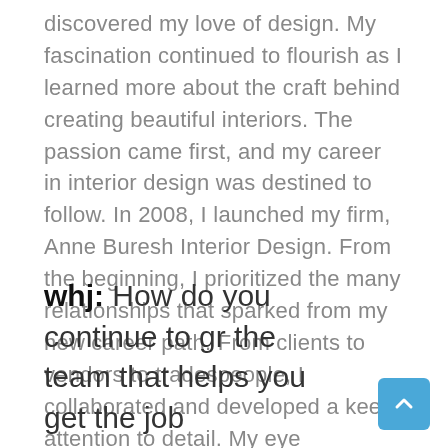discovered my love of design. My fascination continued to flourish as I learned more about the craft behind creating beautiful interiors. The passion came first, and my career in interior design was destined to follow. In 2008, I launched my firm, Anne Buresh Interior Design. From the beginning, I prioritized the many relationships that sparked from my new career path. From clients to vendors to tradespeople, I collaborated and developed a keen attention to detail. My eye gravitates toward artistic culture and my love of travel. I now merge Southern charm with a Western influence, which was how I expanded my design business out West in Jackson Hole, Wyoming.
whj: How do you continue to gr the team that helps you get the job